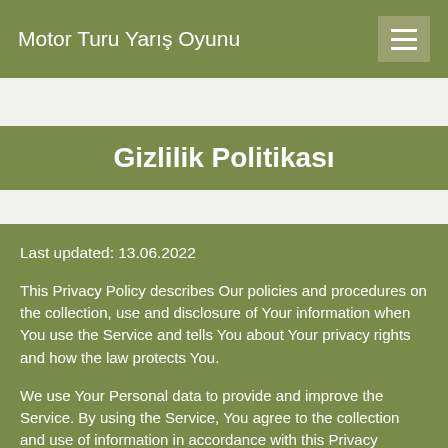Motor Turu Yarış Oyunu
Gizlilik Politikası
Last updated: 13.06.2022
This Privacy Policy describes Our policies and procedures on the collection, use and disclosure of Your information when You use the Service and tells You about Your privacy rights and how the law protects You.
We use Your Personal data to provide and improve the Service. By using the Service, You agree to the collection and use of information in accordance with this Privacy